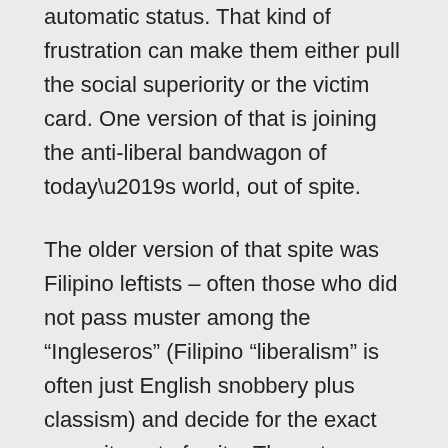automatic status. That kind of frustration can make them either pull the social superiority or the victim card. One version of that is joining the anti-liberal bandwagon of today’s world, out of spite.
The older version of that spite was Filipino leftists – often those who did not pass muster among the “Ingleseros” (Filipino “liberalism” is often just English snobbery plus classism) and decide for the exact opposite out of spite. The extreme versions who actually get to study in Russia for example are very surprised that in reality, racism is